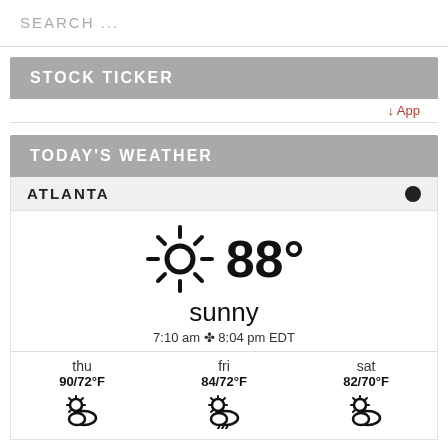SEARCH ...
STOCK TICKER
↓ App
TODAY'S WEATHER
ATLANTA
[Figure (infographic): Weather widget showing sunny icon and 88° temperature, condition 'sunny', sunrise 7:10 am and sunset 8:04 pm EDT, with 3-day forecast: thu 90/72°F, fri 84/72°F, sat 82/70°F, each with partly cloudy icons]